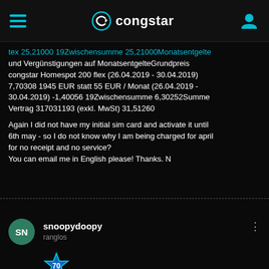congstar
tex 25,21000 19Zwischensumme 25,21000Monatsentgelte und Vergünstigungen auf MonatsentgelteGrundpreis congstar Homespot 200 flex (26.04.2019 - 30.04.2019) 7,70308 1945 EUR statt 55 EUR / Monat (26.04.2019 - 30.04.2019) -1,40056 19Zwischensumme 6,30252Summe Vertrag 317031193 (exkl. MwSt) 31,51260

Again I did not have my initial sim card and activate it until 6th may - so I do not know why I am being charged for april for no receipt and no service?
You can email me in English please! Thanks. N
snoopydoopy
ranglos